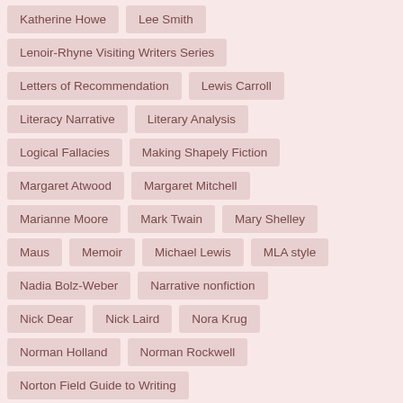Katherine Howe
Lee Smith
Lenoir-Rhyne Visiting Writers Series
Letters of Recommendation
Lewis Carroll
Literacy Narrative
Literary Analysis
Logical Fallacies
Making Shapely Fiction
Margaret Atwood
Margaret Mitchell
Marianne Moore
Mark Twain
Mary Shelley
Maus
Memoir
Michael Lewis
MLA style
Nadia Bolz-Weber
Narrative nonfiction
Nick Dear
Nick Laird
Nora Krug
Norman Holland
Norman Rockwell
Norton Field Guide to Writing